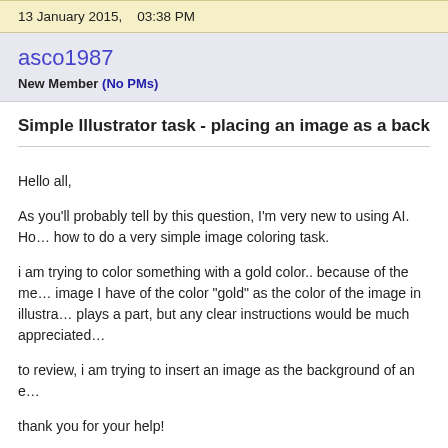13 January 2015,   03:38 PM
asco1987
New Member (No PMs)
Simple Illustrator task - placing an image as a background...
Hello all,

As you'll probably tell by this question, I'm very new to using AI. Ho... how to do a very simple image coloring task.

i am trying to color something with a gold color.. because of the me... image I have of the color "gold" as the color of the image in illustra... plays a part, but any clear instructions would be much appreciated...

to review, i am trying to insert an image as the background of an e...

thank you for your help!
18 January 2015,   11:02 AM
Albacore